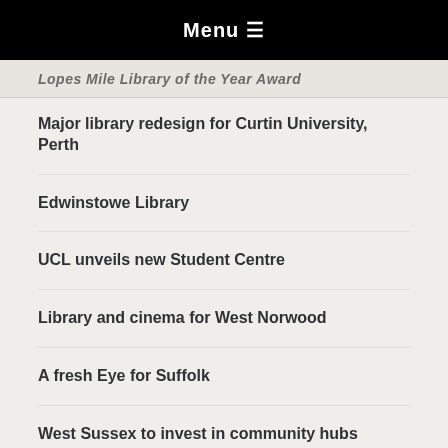Menu ☰
Lopes Mile Library of the Year Award
Major library redesign for Curtin University, Perth
Edwinstowe Library
UCL unveils new Student Centre
Library and cinema for West Norwood
A fresh Eye for Suffolk
West Sussex to invest in community hubs
Norwegian library wins award